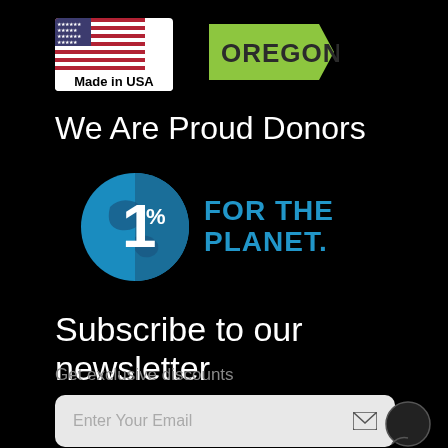[Figure (logo): Made in USA badge with American flag and 'Made in USA' text below]
[Figure (logo): Oregon badge in green with white 'OREGON' text, arrow-shaped]
We Are Proud Donors
[Figure (logo): 1% For The Planet logo: globe circle with '1%' in white, and 'FOR THE PLANET.' in blue text]
Subscribe to our newsletter
Get exclusive discounts
Enter Your Email